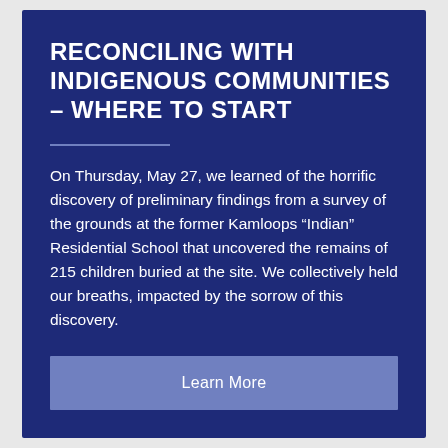RECONCILING WITH INDIGENOUS COMMUNITIES – WHERE TO START
On Thursday, May 27, we learned of the horrific discovery of preliminary findings from a survey of the grounds at the former Kamloops “Indian” Residential School that uncovered the remains of 215 children buried at the site. We collectively held our breaths, impacted by the sorrow of this discovery.
Learn More